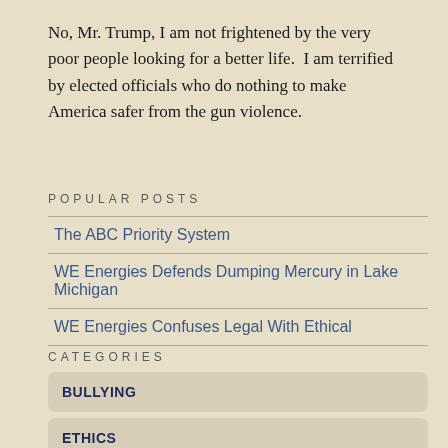No, Mr. Trump, I am not frightened by the very poor people looking for a better life.  I am terrified by elected officials who do nothing to make America safer from the gun violence.
POPULAR POSTS
The ABC Priority System
WE Energies Defends Dumping Mercury in Lake Michigan
WE Energies Confuses Legal With Ethical
CATEGORIES
BULLYING
ETHICS
HAPPINESS